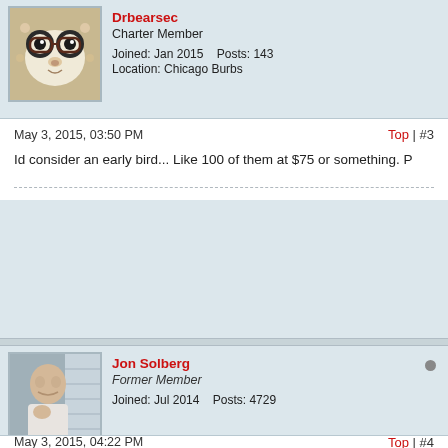Drbearsec
Charter Member
Joined: Jan 2015    Posts: 143
Location: Chicago Burbs
May 3, 2015, 03:50 PM
Top | #3
Id consider an early bird... Like 100 of them at $75 or something. P
Jon Solberg
Former Member
Joined: Jul 2014    Posts: 4729
May 3, 2015, 04:22 PM
Top | #4